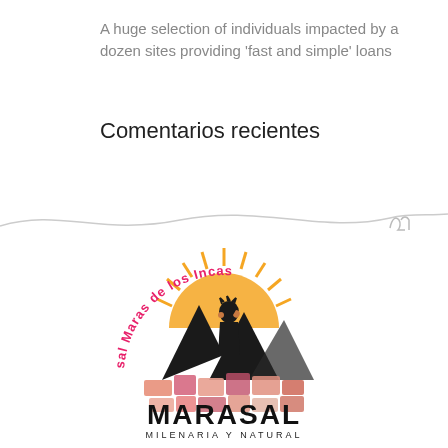A huge selection of individuals impacted by a dozen sites providing 'fast and simple' loans
Comentarios recientes
[Figure (logo): Sal Maras de los Incas / MARASAL MILENARIA Y NATURAL logo featuring an Incan figure with sunburst background and salt terraces]